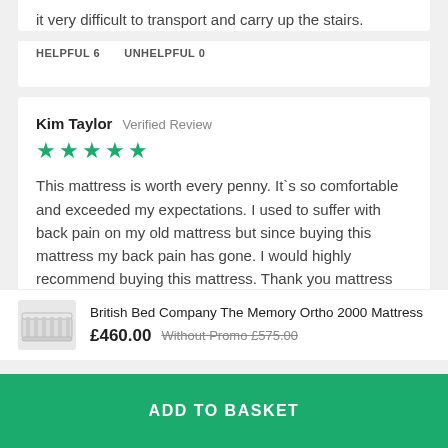it very difficult to transport and carry up the stairs.
HELPFUL 6    UNHELPFUL 0
Kim Taylor  Verified Review
★★★★★
This mattress is worth every penny. It`s so comfortable and exceeded my expectations. I used to suffer with back pain on my old mattress but since buying this mattress my back pain has gone. I would highly recommend buying this mattress. Thank you mattress
British Bed Company The Memory Ortho 2000 Mattress
£460.00  Without Promo £575.00
ADD TO BASKET